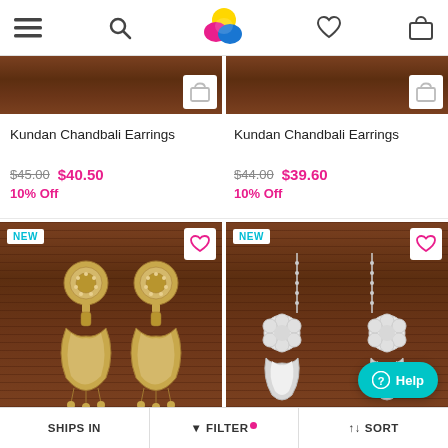[Figure (screenshot): App navigation bar with hamburger menu, search icon, colorful bird logo, heart/wishlist icon, and shopping bag icon]
[Figure (photo): Partial top of product image showing wood texture background with cart icon overlay - left product]
[Figure (photo): Partial top of product image showing wood texture background with cart icon overlay - right product]
Kundan Chandbali Earrings
Kundan Chandbali Earrings
$45.00 $40.50
10% Off
$44.00 $39.60
10% Off
[Figure (photo): NEW badge product - Kundan Chandbali Earrings on wood background, left item, with heart wishlist button]
[Figure (photo): NEW badge product - earrings on wood background, right item, with heart wishlist button and Help button overlay]
SHIPS IN   ▼ FILTER  ↑↓ SORT